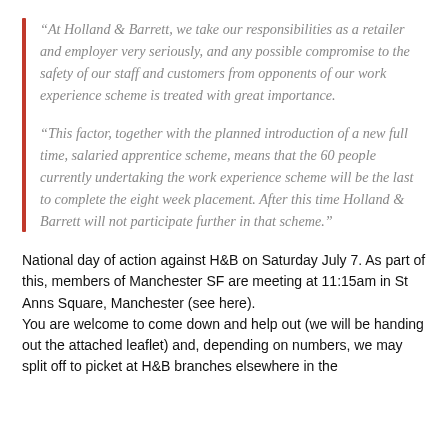“At Holland & Barrett, we take our responsibilities as a retailer and employer very seriously, and any possible compromise to the safety of our staff and customers from opponents of our work experience scheme is treated with great importance.”
“This factor, together with the planned introduction of a new full time, salaried apprentice scheme, means that the 60 people currently undertaking the work experience scheme will be the last to complete the eight week placement. After this time Holland & Barrett will not participate further in that scheme.”
National day of action against H&B on Saturday July 7. As part of this, members of Manchester SF are meeting at 11:15am in St Anns Square, Manchester (see here). You are welcome to come down and help out (we will be handing out the attached leaflet) and, depending on numbers, we may split off to picket at H&B branches elsewhere in the